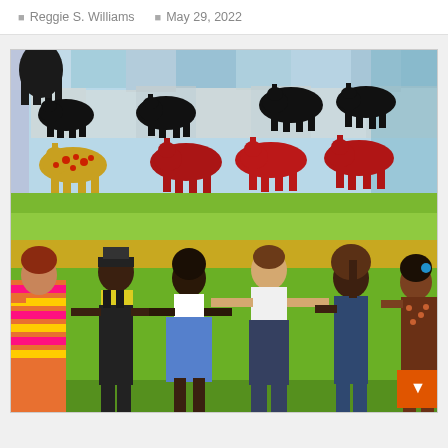Reggie S. Williams   May 29, 2022
[Figure (photo): A fabric quilt artwork depicting colorful appliqué horses (black silhouettes and red patterned horses) running across the top half, and a row of diverse human figures holding hands across the bottom half, set against a patchwork green landscape background.]